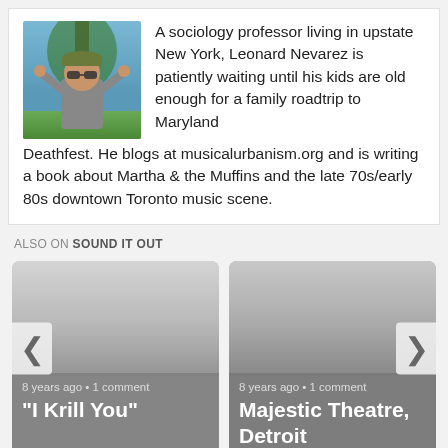[Figure (photo): Photo of Leonard Nevarez, a man wearing a cap and sunglasses outdoors near a tree]
A sociology professor living in upstate New York, Leonard Nevarez is patiently waiting until his kids are old enough for a family roadtrip to Maryland Deathfest. He blogs at musicalurbanism.org and is writing a book about Martha & the Muffins and the late 70s/early 80s downtown Toronto music scene.
ALSO ON SOUND IT OUT
[Figure (screenshot): Card showing article '"I Krill You"' from 8 years ago with 1 comment]
[Figure (screenshot): Card showing article 'Majestic Theatre, Detroit' from 8 years ago with 1 comment]